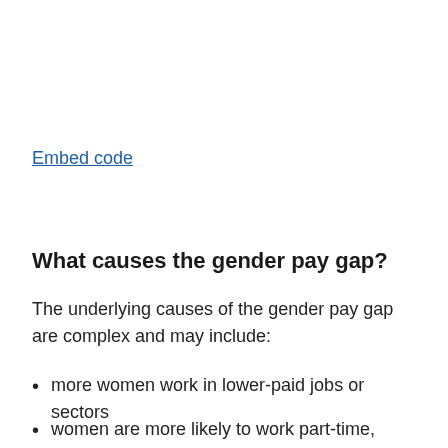Embed code
What causes the gender pay gap?
The underlying causes of the gender pay gap are complex and may include:
more women work in lower-paid jobs or sectors
women are more likely to work part-time, which